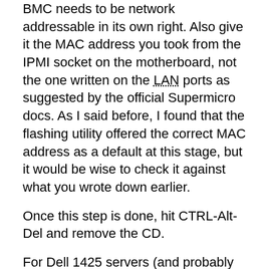BMC needs to be network addressable in its own right. Also give it the MAC address you took from the IPMI socket on the motherboard, not the one written on the LAN ports as suggested by the official Supermicro docs. As I said before, I found that the flashing utility offered the correct MAC address as a default at this stage, but it would be wise to check it against what you wrote down earlier.
Once this step is done, hit CTRL-Alt-Del and remove the CD.
For Dell 1425 servers (and probably other Dells), hit Alt-3 when prompted to enter the BMC setup and give it some unique network settings and some user settings (make your passwords secure!).
You can boot now into Linux, or from a Linux installer CD.
Note on network configuration: